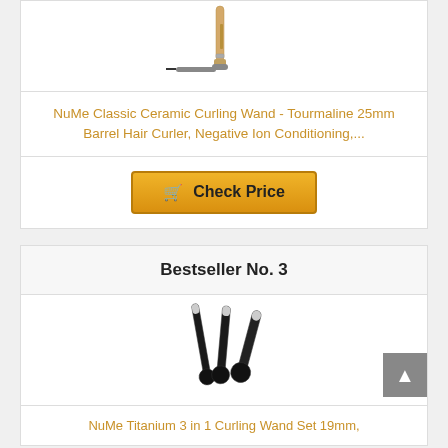[Figure (photo): NuMe Classic Ceramic Curling Wand product image - rose gold curling wand partially visible]
NuMe Classic Ceramic Curling Wand - Tourmaline 25mm Barrel Hair Curler, Negative Ion Conditioning,...
[Figure (other): Check Price button with shopping cart icon]
Bestseller No. 3
[Figure (photo): NuMe Titanium 3 in 1 Curling Wand Set product image - three black curling wands]
NuMe Titanium 3 in 1 Curling Wand Set 19mm,